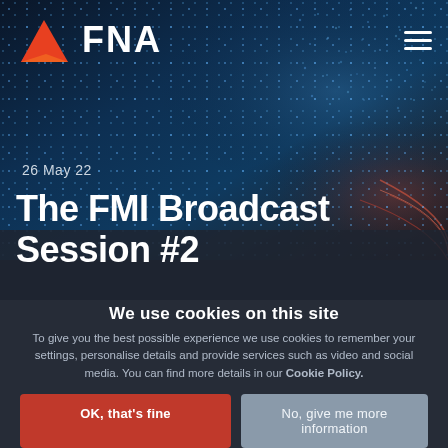[Figure (screenshot): FNA website header with dark blue digital/data visualization background]
FNA
26 May 22
The FMI Broadcast Session #2
We use cookies on this site
To give you the best possible experience we use cookies to remember your settings, personalise details and provide services such as video and social media. You can find more details in our Cookie Policy.
OK, that's fine
No, give me more information